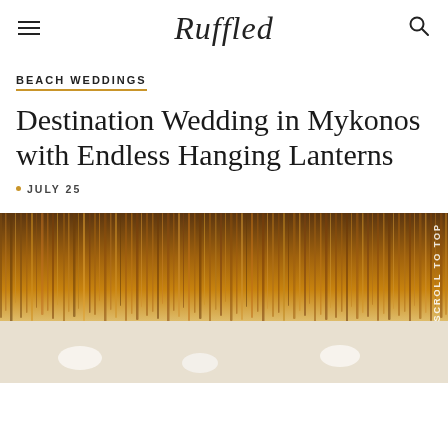Ruffled
BEACH WEDDINGS
Destination Wedding in Mykonos with Endless Hanging Lanterns
JULY 25
[Figure (photo): Wedding venue with hanging golden lanterns and white table settings below, photographed at Mykonos. A 'Scroll To Top' label is overlaid on the right side of the image.]